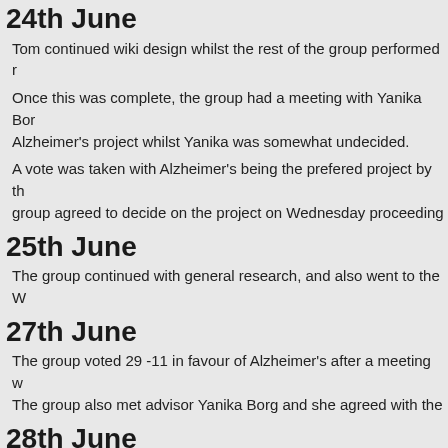24th June
Tom continued wiki design whilst the rest of the group performed r...
Once this was complete, the group had a meeting with Yanika Bor... Alzheimer's project whilst Yanika was somewhat undecided.
A vote was taken with Alzheimer's being the prefered project by th... group agreed to decide on the project on Wednesday proceeding...
25th June
The group continued with general research, and also went to the W...
27th June
The group voted 29 -11 in favour of Alzheimer's after a meeting w... The group also met advisor Yanika Borg and she agreed with the...
28th June
Tom presented to prospective students about the iGEM project for...
Weiling, Alex, Andy & Catrin began to produce a 'stop motion' exp...
KC, Robin and StJohn discussed lab protocols and also modelling...
29th June